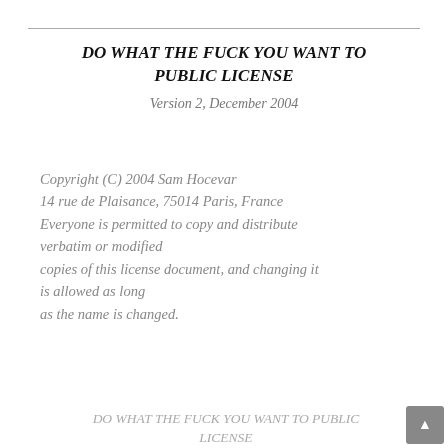DO WHAT THE FUCK YOU WANT TO PUBLIC LICENSE
Version 2, December 2004
Copyright (C) 2004 Sam Hocevar
14 rue de Plaisance, 75014 Paris, France
Everyone is permitted to copy and distribute verbatim or modified
copies of this license document, and changing it is allowed as long
as the name is changed.
DO WHAT THE FUCK YOU WANT TO PUBLIC LICENSE